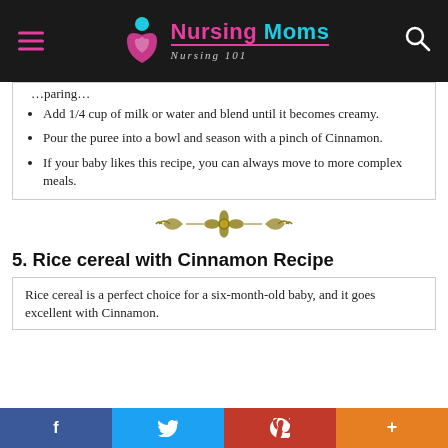Nursing Moms — Nursing 101
Add 1/4 cup of milk or water and blend until it becomes creamy.
Pour the puree into a bowl and season with a pinch of Cinnamon.
If your baby likes this recipe, you can always move to more complex meals.
[Figure (illustration): Decorative ornamental divider with floral/scroll motif in olive/gold color]
5. Rice cereal with Cinnamon Recipe
Rice cereal is a perfect choice for a six-month-old baby, and it goes excellent with Cinnamon.
Social share bar: Facebook, Twitter, Pinterest, More